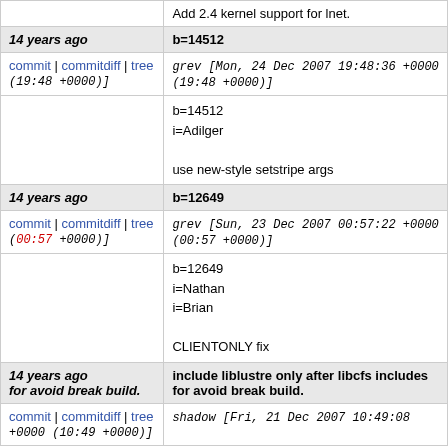Add 2.4 kernel support for lnet.
| 14 years ago | b=14512 |
| --- | --- |
| commit | commitdiff | tree (19:48 +0000)] | grev [Mon, 24 Dec 2007 19:48:36 +0000 (19:48 +0000)] |
|  | b=14512
i=Adilger

use new-style setstripe args |
| 14 years ago | b=12649 |
| --- | --- |
| commit | commitdiff | tree (00:57 +0000)] | grev [Sun, 23 Dec 2007 00:57:22 +0000 (00:57 +0000)] |
|  | b=12649
i=Nathan
i=Brian

CLIENTONLY fix |
| 14 years ago
for avoid break build. | include liblustre only after libcfs includes for avoid break build. |
| --- | --- |
| commit | commitdiff | tree +0000 (10:49 +0000)] | shadow [Fri, 21 Dec 2007 10:49:08 +0000 (10:49 +0000)] |